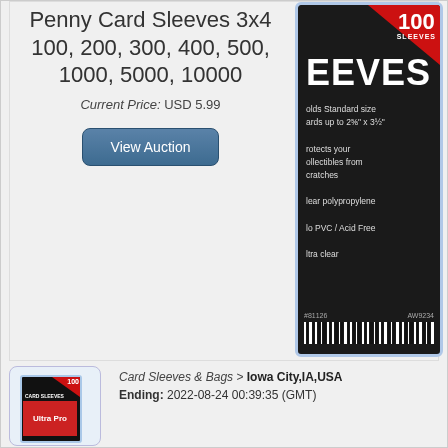Penny Card Sleeves 3x4 100, 200, 300, 400, 500, 1000, 5000, 10000
Current Price: USD 5.99
View Auction
[Figure (photo): Ultra Pro 100 Card Sleeves product package — dark background with large white SLEEVES text, red triangle badge showing 100 SLEEVES, product features text: Holds Standard size cards up to 2⅝ x 3½, Protects your collectibles from scratches, Clear polypropylene, No PVC / Acid Free, Ultra clear, SKU #81126 AW9234, barcode at bottom]
[Figure (photo): Thumbnail image of Ultra Pro 100 Card Sleeves product package]
Card Sleeves & Bags > Iowa City,IA,USA Ending: 2022-08-24 00:39:35 (GMT)